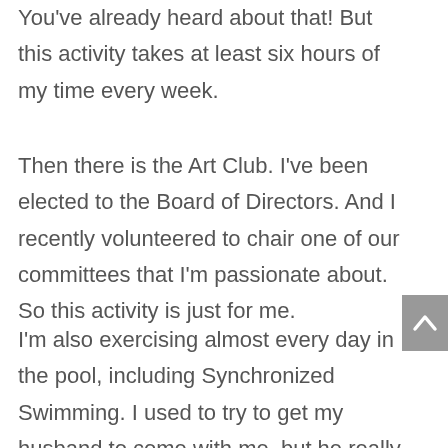You've already heard about that!  But this activity takes at least six hours of my time every week.
Then there is the Art Club.  I've been elected to the Board of Directors.  And I recently volunteered to chair one of our committees that I'm passionate about.  So this activity is just for me.
I'm also exercising almost every day in the pool, including Synchronized Swimming. I used to try to get my husband to come with me, but he really doesn't like it.  So I do this on my own, and he exercises with dumbbells at home, or he does something else...